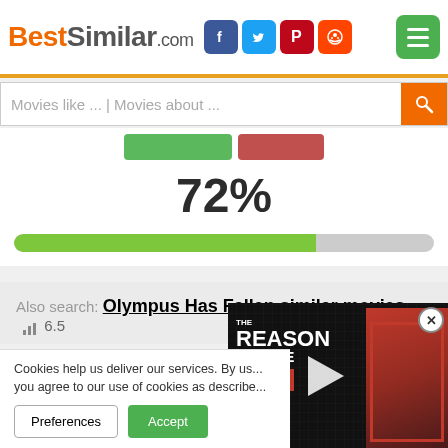BestSimilar.com
[Figure (screenshot): Search bar with placeholder text 'Movies like ... | Movies about ...' and orange search button]
[Figure (infographic): Rating display showing 72% with a green progress bar at approximately 72% filled]
Also search: Olympus Has Fallen similar movies  6.5
Blast (1997)
Cookies help us deliver our services. By us... you agree to our use of cookies as describe...
[Figure (screenshot): Video overlay showing 'THE REASON I RHYME DIXSON' with a person in red sweater and play arrow button]